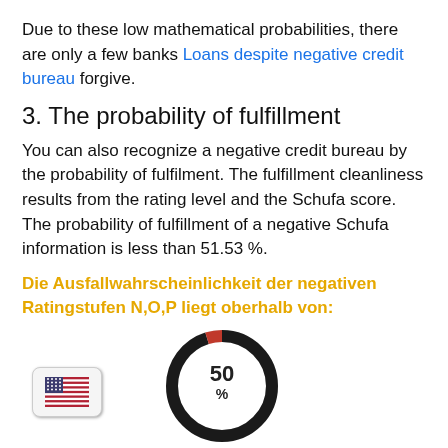Due to these low mathematical probabilities, there are only a few banks Loans despite negative credit bureau forgive.
3. The probability of fulfillment
You can also recognize a negative credit bureau by the probability of fulfilment. The fulfillment cleanliness results from the rating level and the Schufa score. The probability of fulfillment of a negative Schufa information is less than 51.53 %.
Die Ausfallwahrscheinlichkeit der negativen Ratingstufen N,O,P liegt oberhalb von:
[Figure (donut-chart): 50%]